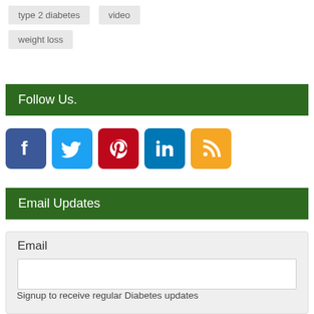type 2 diabetes
video
weight loss
Follow Us.
[Figure (infographic): Five social media icon buttons: Facebook (blue), Twitter (light blue), Pinterest (red), LinkedIn (blue), RSS (orange)]
Email Updates
Email
Signup to receive regular Diabetes updates